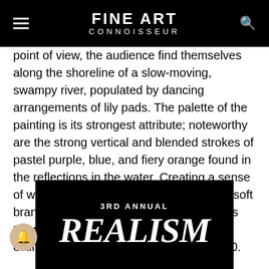FINE ART CONNOISSEUR
point of view, the audience find themselves along the shoreline of a slow-moving, swampy river, populated by dancing arrangements of lily pads. The palette of the painting is its strongest attribute; noteworthy are the strong vertical and blended strokes of pastel purple, blue, and fiery orange found in the reflections in the water. Creating a sense of wonderful three-dimensionality are the soft branches of a low-hanging tree that enters the piece from the left edge. Auction estimates are between $3,000 and $5,000.
[Figure (other): 3RD ANNUAL REALISM promotional banner image on black background with large white serif italic text reading REALISM]